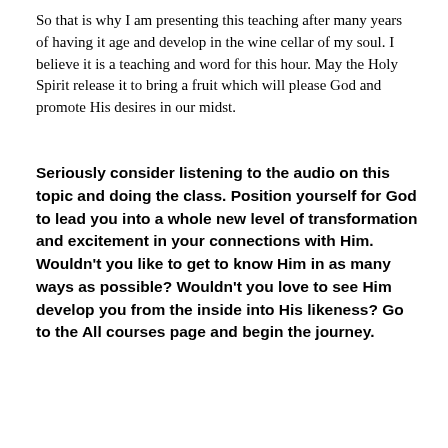So that is why I am presenting this teaching after many years of having it age and develop in the wine cellar of my soul. I believe it is a teaching and word for this hour. May the Holy Spirit release it to bring a fruit which will please God and promote His desires in our midst.
Seriously consider listening to the audio on this topic and doing the class. Position yourself for God to lead you into a whole new level of transformation and excitement in your connections with Him. Wouldn't you like to get to know Him in as many ways as possible? Wouldn't you love to see Him develop you from the inside into His likeness? Go to the All courses page and begin the journey.